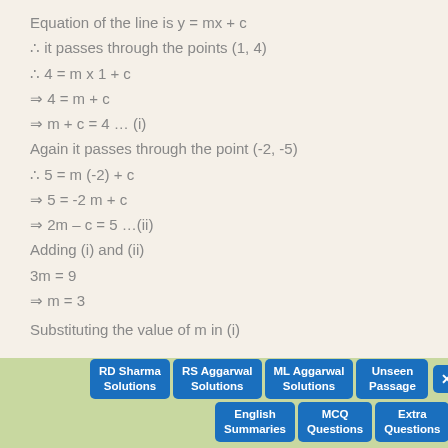Equation of the line is y = mx + c
∴ it passes through the points (1, 4)
Again it passes through the point (-2, -5)
Adding (i) and (ii)
Substituting the value of m in (i)
RD Sharma Solutions | RS Aggarwal Solutions | ML Aggarwal Solutions | Unseen Passage | English Summaries | MCQ Questions | Extra Questions